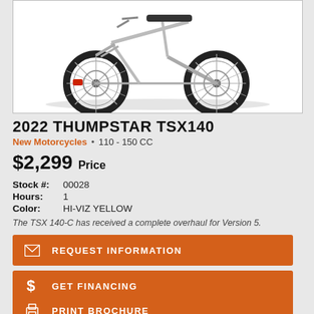[Figure (photo): Dirt bike / motocross motorcycle (2022 Thumpstar TSX140) shown from front-side angle with large knobby tires, silver frame, red brake caliper visible on front wheel]
2022 THUMPSTAR TSX140
New Motorcycles • 110 - 150 CC
$2,299 Price
Stock #: 00028
Hours: 1
Color: HI-VIZ YELLOW
The TSX 140-C has received a complete overhaul for Version 5.
REQUEST INFORMATION
GET FINANCING
PRINT BROCHURE